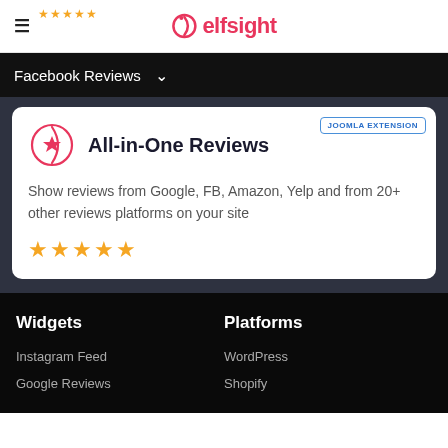elfsight
Facebook Reviews
All-in-One Reviews
Show reviews from Google, FB, Amazon, Yelp and from 20+ other reviews platforms on your site
★★★★★
Widgets
Platforms
Instagram Feed
Google Reviews
WordPress
Shopify